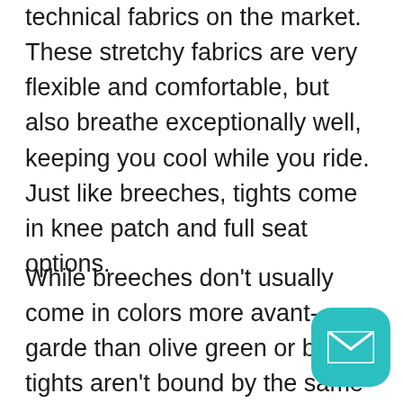technical fabrics on the market. These stretchy fabrics are very flexible and comfortable, but also breathe exceptionally well, keeping you cool while you ride. Just like breeches, tights come in knee patch and full seat options.
While breeches don't usually come in colors more avant-garde than olive green or black, tights aren't bound by the same tradition. If you want to stand out, riding tights are for you! They come in a wide array of colors and prints. While you can
[Figure (other): Teal/turquoise rounded square email button icon overlay in bottom-right corner]